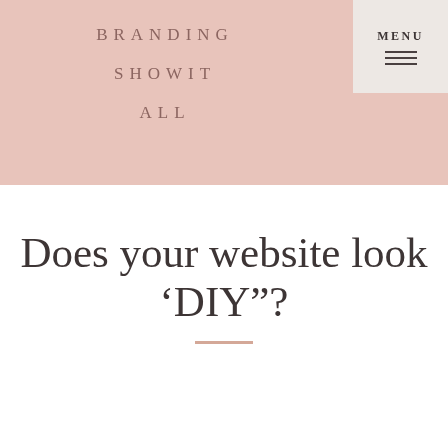BRANDING  SHOWIT  ALL
MENU
Does your website look ‘DIY”?